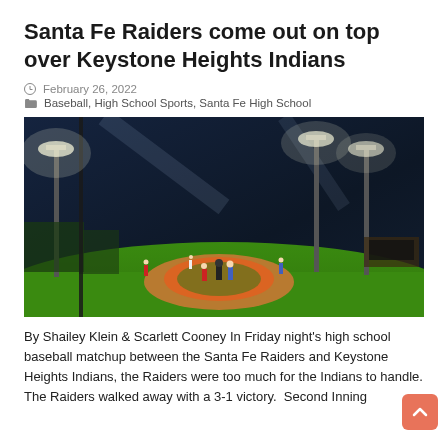Santa Fe Raiders come out on top over Keystone Heights Indians
February 26, 2022
Baseball, High School Sports, Santa Fe High School
[Figure (photo): Night baseball game at a high school field with stadium lights illuminating the green grass diamond. Players can be seen on the field near the pitcher's mound area.]
By Shailey Klein & Scarlett Cooney In Friday night's high school baseball matchup between the Santa Fe Raiders and Keystone Heights Indians, the Raiders were too much for the Indians to handle. The Raiders walked away with a 3-1 victory.  Second Inning